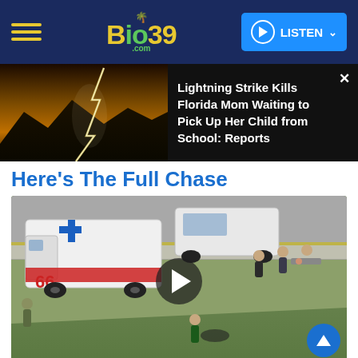Bio39.com — LISTEN
[Figure (screenshot): News banner showing lightning strike photo on left and headline text on right: 'Lightning Strike Kills Florida Mom Waiting to Pick Up Her Child from School: Reports']
Here's The Full Chase
[Figure (screenshot): Aerial video thumbnail showing ambulance unit 66 and law enforcement officers on a highway roadside with a video play button overlay]